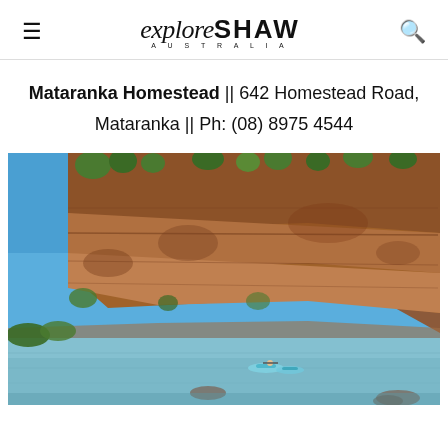explore SHAW AUSTRALIA — navigation header with hamburger menu and search icon
Mataranka Homestead || 642 Homestead Road, Mataranka || Ph: (08) 8975 4544
[Figure (photo): Kayakers paddling on a calm river gorge with towering red sandstone cliffs and green trees under a clear blue sky, Northern Territory, Australia]